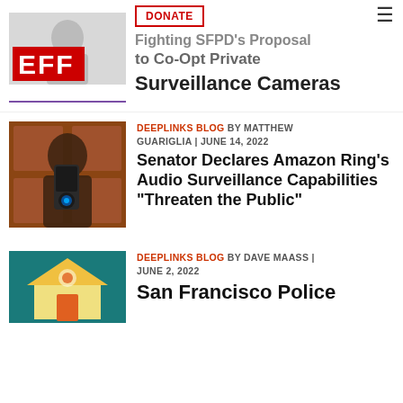[Figure (logo): EFF (Electronic Frontier Foundation) red logo with stylized letters E, F, F]
Fighting SFPD's Proposal to Co-Opt Private Surveillance Cameras
[Figure (illustration): Illustration of Amazon Ring doorbell camera with silhouette of person against wooden door panels]
DEEPLINKS BLOG BY MATTHEW GUARIGLIA | JUNE 14, 2022
Senator Declares Amazon Ring's Audio Surveillance Capabilities "Threaten the Public"
[Figure (illustration): Illustration of a house with surveillance or security theme in teal and yellow tones]
DEEPLINKS BLOG BY DAVE MAASS | JUNE 2, 2022
San Francisco Police